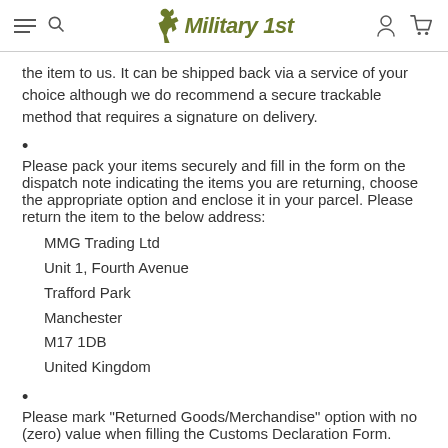Military 1st
the item to us. It can be shipped back via a service of your choice although we do recommend a secure trackable method that requires a signature on delivery.
Please pack your items securely and fill in the form on the dispatch note indicating the items you are returning, choose the appropriate option and enclose it in your parcel. Please return the item to the below address:
MMG Trading Ltd
Unit 1, Fourth Avenue
Trafford Park
Manchester
M17 1DB
United Kingdom
Please mark "Returned Goods/Merchandise" option with no (zero) value when filling the Customs Declaration Form.
Make sure the sender's address is ON the box.